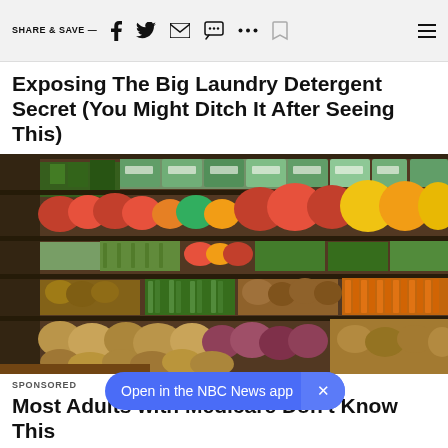SHARE & SAVE —
Exposing The Big Laundry Detergent Secret (You Might Ditch It After Seeing This)
[Figure (photo): Grocery store produce aisle with colorful vegetables and fruits on multiple shelves including bell peppers, potatoes, green beans, and various other produce items.]
SPONSORED
Open in the NBC News app
Most Adults with Medicare Don't Know This